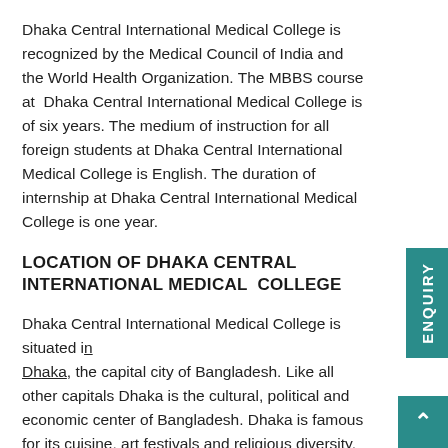Dhaka Central International Medical College is recognized by the Medical Council of India and the World Health Organization. The MBBS course at  Dhaka Central International Medical College is of six years. The medium of instruction for all foreign students at Dhaka Central International Medical College is English. The duration of internship at Dhaka Central International Medical College is one year.
LOCATION OF DHAKA CENTRAL INTERNATIONAL MEDICAL  COLLEGE
Dhaka Central International Medical College is situated in Dhaka, the capital city of Bangladesh. Like all other capitals Dhaka is the cultural, political and economic center of Bangladesh. Dhaka is famous for its cuisine, art festivals and religious diversity. Bangladesh has been a part of India at one point in history and has close connections with India. The people of Dhaka are helpful towards the new entrants in the city.